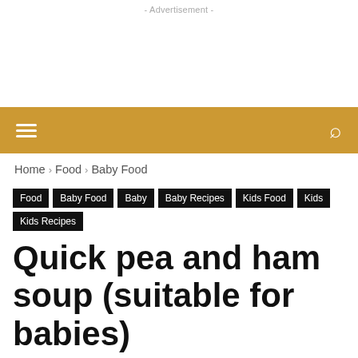- Advertisement -
Home › Food › Baby Food
Food
Baby Food
Baby
Baby Recipes
Kids Food
Kids
Kids Recipes
Quick pea and ham soup (suitable for babies)
(13 votes, average: 4.69 out of 5)